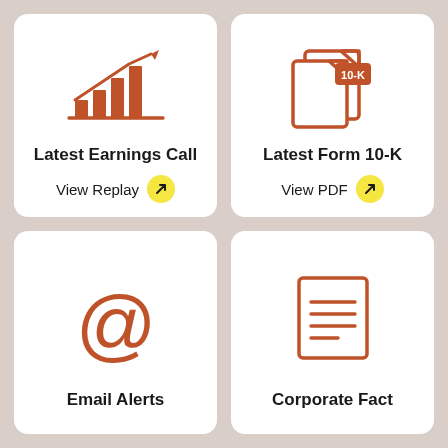[Figure (illustration): Bar chart with upward trending line icon in orange/terracotta color]
Latest Earnings Call
View Replay
[Figure (illustration): Document/file icon with '10-K' label badge in orange/terracotta color]
Latest Form 10-K
View PDF
[Figure (illustration): @ (at symbol) email icon in orange/terracotta color]
Email Alerts
[Figure (illustration): Document with lines of text icon in orange/terracotta color]
Corporate Fact